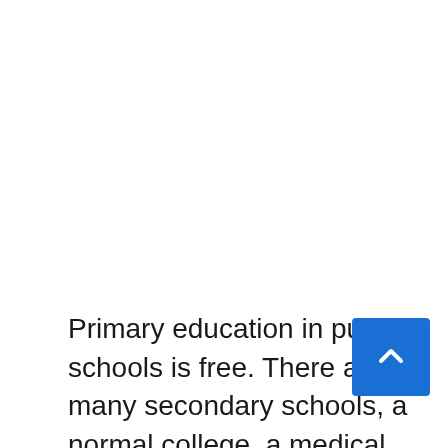Primary education in public schools is free. There are many secondary schools, a normal college, a medical school, a nursing school, and a branch of the University of the West Indies. The literacy rate is estimated to be close to 90%. There is not enough Higher education